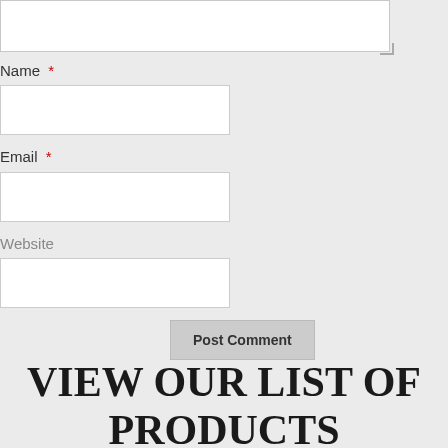Name *
Email *
Website
Post Comment
VIEW OUR LIST OF PRODUCTS